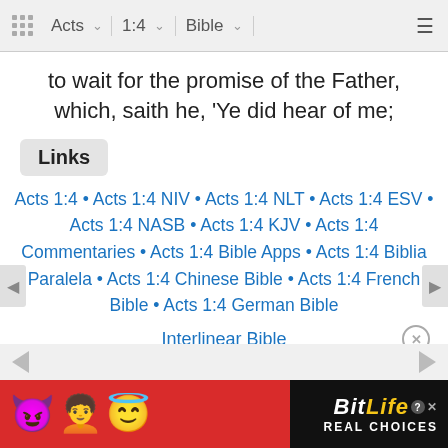Acts  1:4  Bible
to wait for the promise of the Father, which, saith he, 'Ye did hear of me;
Links
Acts 1:4 • Acts 1:4 NIV • Acts 1:4 NLT • Acts 1:4 ESV • Acts 1:4 NASB • Acts 1:4 KJV • Acts 1:4 Commentaries • Acts 1:4 Bible Apps • Acts 1:4 Biblia Paralela • Acts 1:4 Chinese Bible • Acts 1:4 French Bible • Acts 1:4 German Bible
Interlinear Bible
[Figure (infographic): BitLife app advertisement banner with emoji characters (devil, person, angel) on red background and BitLife REAL CHOICES logo on black background]